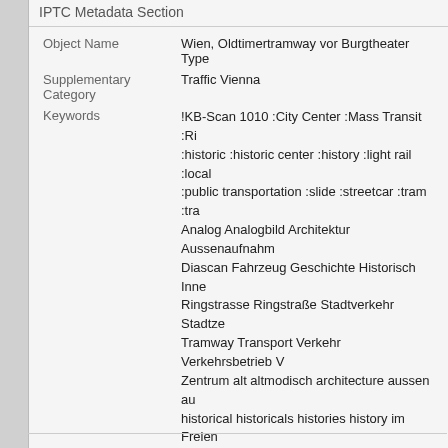IPTC Metadata Section
| Field | Value |
| --- | --- |
| Object Name | Wien, Oldtimertramway vor Burgtheater Type |
| Supplementary Category | Traffic Vienna |
| Keywords | !KB-Scan 1010 :City Center :Mass Transit :Ri... :historic :historic center :history :light rail :local :public transportation :slide :streetcar :tram :tra Analog Analogbild Architektur Aussenaufnahm Diascan Fahrzeug Geschichte Historisch Inne Ringstrasse Ringstraße Stadtverkehr Stadtze Tramway Transport Verkehr Verkehrsbetrieb V Zentrum alt altmodisch architecture aussen au historical historicals histories history im Freien fashioned rail transportation trams urban ÖPN öffentlicher |
| City | Vienna |
| Province/State | Vienna |
| Country Code | AUT |
| Country | Austria |
| Headline | Wien, Oldtimertramway vor Burgtheater Type |
| Credit | Harald A. Jahn / www.viennaslide |
| Source | www.viennaslide.com |
| Caption | Wien, Oldtimertramway vor Burgtheater Type |